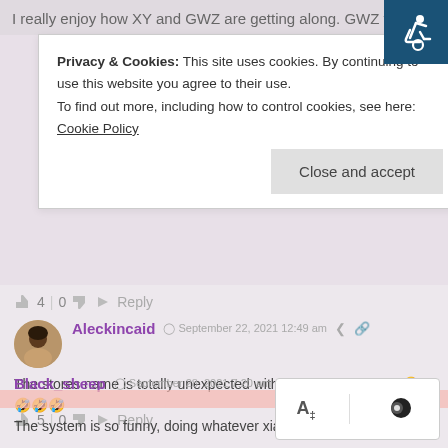I really enjoy how XY and GWZ are getting along. GWZ take
Privacy & Cookies: This site uses cookies. By continuing to use this website you agree to their use.
To find out more, including how to control cookies, see here: Cookie Policy
Close and accept
👍 4 | 0 👎 ➜ Reply
[Figure (photo): Avatar of user Aleckincaid - woman with dark hair]
Aleckincaid  🕐 September 22, 2021 12:49 am
The stores name is totally unexpected with the business types 🤣🤣🤣🤣
👍 5 | 0 👎 ➜ Reply
[Figure (photo): Avatar of user Black_sheep - person with red hair]
Black_sheep  🕐 September 28, 2021 7:20 am
The system is so funny, doing whatever xia Yi asks because he